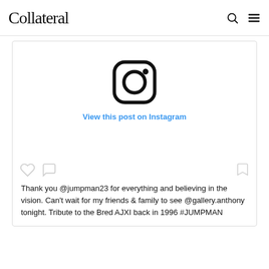Collateral [logo] with search and menu icons
[Figure (screenshot): Embedded Instagram post placeholder with Instagram logo icon, 'View this post on Instagram' link, like/comment/bookmark icons, and caption text: Thank you @jumpman23 for everything and believing in the vision. Can't wait for my friends & family to see @gallery.anthony tonight. Tribute to the Bred AJXI back in 1996 #JUMPMAN]
Thank you @jumpman23 for everything and believing in the vision. Can't wait for my friends & family to see @gallery.anthony tonight. Tribute to the Bred AJXI back in 1996 #JUMPMAN